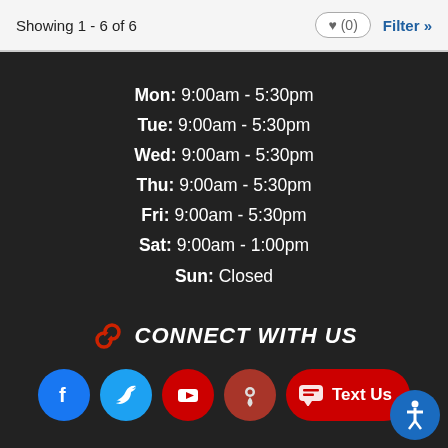Showing 1 - 6 of 6
Mon: 9:00am - 5:30pm
Tue: 9:00am - 5:30pm
Wed: 9:00am - 5:30pm
Thu: 9:00am - 5:30pm
Fri: 9:00am - 5:30pm
Sat: 9:00am - 1:00pm
Sun: Closed
CONNECT WITH US
[Figure (infographic): Social media icons row: Facebook, Twitter, YouTube, Google Maps, and Text Us button]